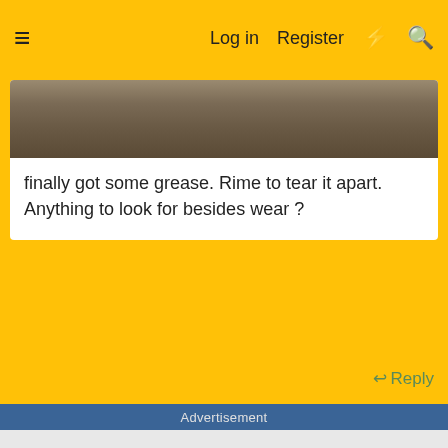≡  Log in  Register  ⚡  🔍
[Figure (photo): Close-up photo of worn, textured fabric or material with creases]
finally got some grease. Rime to tear it apart. Anything to look for besides wear ?
↩ Reply
Advertisement
[Figure (other): Advertisement placeholder area (gray background)]